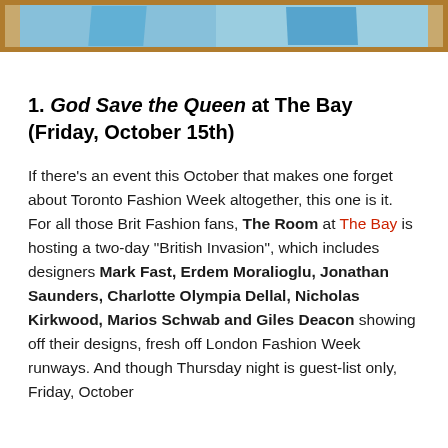[Figure (photo): Partial image strip at top of page showing fashion-related content with blue tones and wooden border frame]
1. God Save the Queen at The Bay (Friday, October 15th)
If there’s an event this October that makes one forget about Toronto Fashion Week altogether, this one is it. For all those Brit Fashion fans, The Room at The Bay is hosting a two-day “British Invasion”, which includes designers Mark Fast, Erdem Moralioglu, Jonathan Saunders, Charlotte Olympia Dellal, Nicholas Kirkwood, Marios Schwab and Giles Deacon showing off their designs, fresh off London Fashion Week runways. And though Thursday night is guest-list only, Friday, October